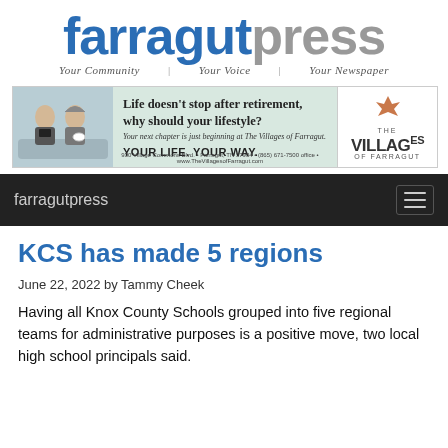[Figure (logo): Farragut Press newspaper logo with tagline 'Your Community  Your Voice  Your Newspaper']
[Figure (infographic): Advertisement for The Villages of Farragut retirement community. Text: 'Life doesn't stop after retirement, why should your lifestyle? Your next chapter is just beginning at The Villages of Farragut. YOUR LIFE. YOUR WAY.' with address and website.]
farragutpress
KCS has made 5 regions
June 22, 2022 by Tammy Cheek
Having all Knox County Schools grouped into five regional teams for administrative purposes is a positive move, two local high school principals said.